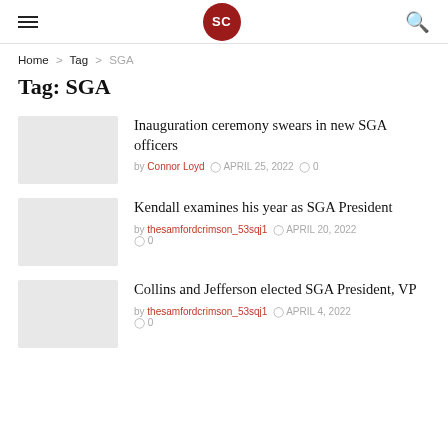SC
Home > Tag > SGA
Tag: SGA
Inauguration ceremony swears in new SGA officers
by Connor Loyd  APRIL 25, 2022  0
Kendall examines his year as SGA President
by thesamfordcrimson_53sqj1  APRIL 20, 2022  0
Collins and Jefferson elected SGA President, VP
by thesamfordcrimson_53sqj1  APRIL 4, 2022  0